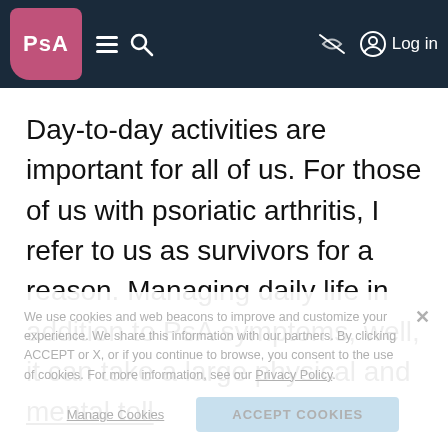PsA [logo] [hamburger menu] [search] [eye-off icon] Log in
Day-to-day activities are important for all of us. For those of us with psoriatic arthritis, I refer to us as survivors for a reason. Managing daily life in addition to PsA symptoms, well, it can take a large physical and mental toll.
We use cookies and web beacons to improve and customize your experience. We share this information with our partners. By clicking ACCEPT or X, or if you continue to browse, you consent to the use of cookies. For more information, see our Privacy Policy.
Manage Cookies   ACCEPT COOKIES